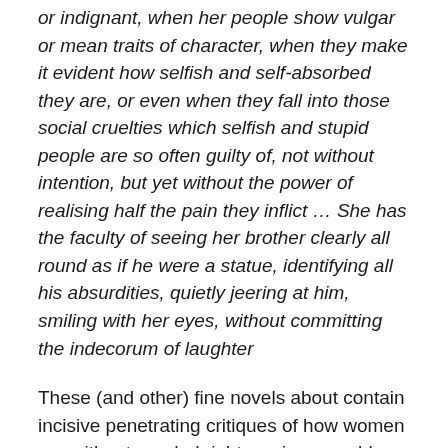or indignant, when her people show vulgar or mean traits of character, when they make it evident how selfish and self-absorbed they are, or even when they fall into those social cruelties which selfish and stupid people are so often guilty of, not without intention, but yet without the power of realising half the pain they inflict … She has the faculty of seeing her brother clearly all round as if he were a statue, identifying all his absurdities, quietly jeering at him, smiling with her eyes, without committing the indecorum of laughter
These (and other) fine novels about contain incisive penetrating critiques of how women are without needed rights as inescapably and necessarily responsible adults, are led or forced to make bad marriages, while males are led to conform to destructive norms for all. I suggest she is sometimes not enjoyed because of her disillusioned views